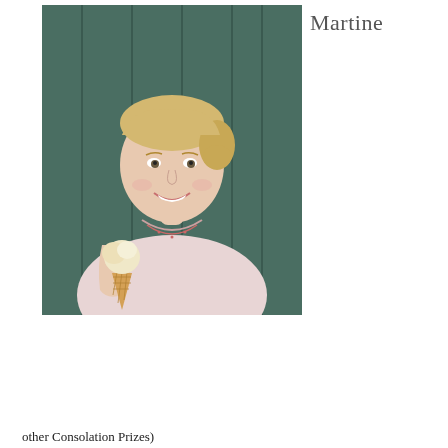Martine
[Figure (photo): Woman with blonde hair smiling, holding an ice cream cone, wearing a pink sweater, standing in front of a green panelled wall]
Privacy & Cookies: This site uses cookies. By continuing to use this website, you agree to their use.
To find out more, including how to control cookies, see here:
Cookie Policy
Close and accept
other Consolation Prizes)